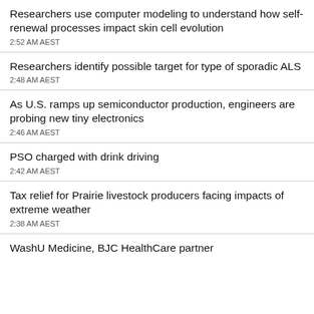Researchers use computer modeling to understand how self-renewal processes impact skin cell evolution
2:52 AM AEST
Researchers identify possible target for type of sporadic ALS
2:48 AM AEST
As U.S. ramps up semiconductor production, engineers are probing new tiny electronics
2:46 AM AEST
PSO charged with drink driving
2:42 AM AEST
Tax relief for Prairie livestock producers facing impacts of extreme weather
2:38 AM AEST
WashU Medicine, BJC HealthCare partner